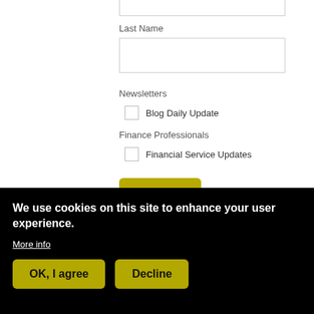Last Name
[Figure (screenshot): Text input field for Last Name]
Newsletters
Blog Daily Update (checkbox)
Finance Professionals
Financial Service Updates (checkbox)
Submit
We use cookies on this site to enhance your user experience.
More info
OK, I agree
Decline